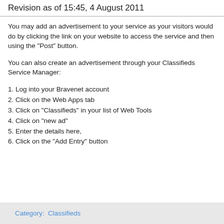Revision as of 15:45, 4 August 2011
You may add an advertisement to your service as your visitors would do by clicking the link on your website to access the service and then using the "Post" button.
You can also create an advertisement through your Classifieds Service Manager:
1. Log into your Bravenet account
2. Click on the Web Apps tab
3. Click on "Classifieds" in your list of Web Tools
4. Click on "new ad"
5. Enter the details here,
6. Click on the "Add Entry" button
Category:  Classifieds